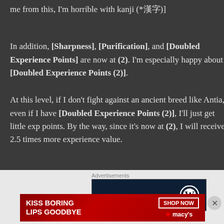me from this, I'm horrible with kanji (*漢字)
In addition, [Sharpness], [Purification], and [Doubled Experience Points] are now at (2). I'm especially happy about [Doubled Experience Points (2)].
At this level, if I don't fight against an ancient breed like Antia, even if I have [Doubled Experience Points (2)], I'll just get little exp points. By the way, since it's now at (2), I will receive 2.5 times more experience value.
[Figure (other): Advertisements section with a WordPress dark blue banner ad and a Macy's red lipstick advertisement with 'KISS BORING LIPS GOODBYE' text and 'SHOP NOW' button]